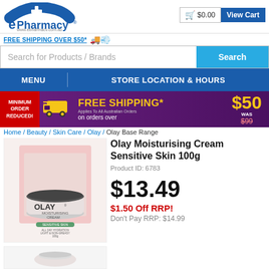ePharmacy www.epharmacy.com.au | $0.00 | View Cart
FREE SHIPPING OVER $50*
Search for Products / Brands | Search
MENU | STORE LOCATION & HOURS
[Figure (infographic): Promotional banner: MINIMUM ORDER REDUCED! FREE SHIPPING* $50 on orders over WAS $99 with yellow truck graphic on purple background]
Home / Beauty / Skin Care / Olay / Olay Base Range
[Figure (photo): Olay Moisturising Cream Sensitive Skin 100g product in pink jar with dark lid]
Olay Moisturising Cream Sensitive Skin 100g
Product ID: 6783
$13.49
$1.50 Off RRP!
Don't Pay RRP: $14.99
[Figure (photo): Partial view of second Olay product]